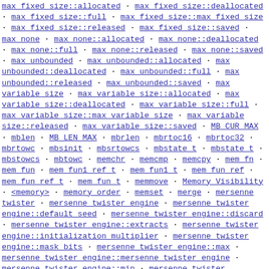max fixed size::allocated · max fixed size::deallocated · max fixed size::full · max fixed size::max fixed size · max fixed size::released · max fixed size::saved · max none · max none::allocated · max none::deallocated · max none::full · max none::released · max none::saved · max unbounded · max unbounded::allocated · max unbounded::deallocated · max unbounded::full · max unbounded::released · max unbounded::saved · max variable size · max variable size::allocated · max variable size::deallocated · max variable size::full · max variable size::max variable size · max variable size::released · max variable size::saved · MB CUR MAX · mblen · MB LEN MAX · mbrlen · mbrtoc16 · mbrtoc32 · mbrtowc · mbsinit · mbsrtowcs · mbstate t · mbstate t · mbstowcs · mbtowc · memchr · memcmp · memcpy · mem fn · mem fun · mem fun1 ref t · mem fun1 t · mem fun ref · mem fun ref t · mem fun t · memmove · Memory Visibility · <memory> · memory order · memset · merge · mersenne twister · mersenne twister engine · mersenne twister engine::default seed · mersenne twister engine::discard · mersenne twister engine::extracts · mersenne twister engine::initialization multiplier · mersenne twister engine::mask bits · mersenne twister engine::max · mersenne twister engine::mersenne twister engine · mersenne twister engine::min · mersenne twister engine::operator() · mersenne twister engine::result type ·